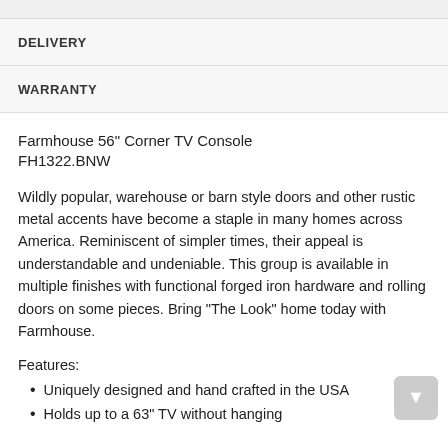DELIVERY
WARRANTY
Farmhouse 56" Corner TV Console
FH1322.BNW
Wildly popular, warehouse or barn style doors and other rustic metal accents have become a staple in many homes across America. Reminiscent of simpler times, their appeal is understandable and undeniable. This group is available in multiple finishes with functional forged iron hardware and rolling doors on some pieces. Bring "The Look" home today with Farmhouse.
Features:
Uniquely designed and hand crafted in the USA
Holds up to a 63" TV without hanging